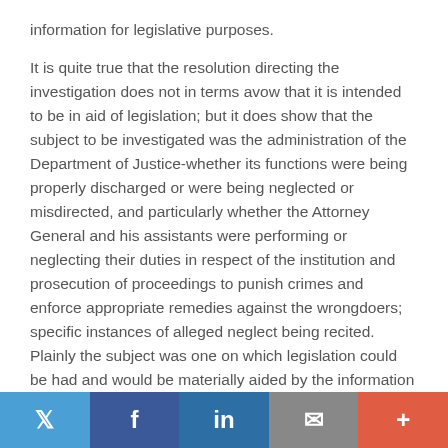information for legislative purposes.

It is quite true that the resolution directing the investigation does not in terms avow that it is intended to be in aid of legislation; but it does show that the subject to be investigated was the administration of the Department of Justice-whether its functions were being properly discharged or were being neglected or misdirected, and particularly whether the Attorney General and his assistants were performing or neglecting their duties in respect of the institution and prosecution of proceedings to punish crimes and enforce appropriate remedies against the wrongdoers; specific instances of alleged neglect being recited. Plainly the subject was one on which legislation could be had and would be materially aided by the information which the investigation was calculated to elicit. [273 U.S. 135, 178]

This becomes manifest when it is reflected that the
Twitter | Facebook | LinkedIn | Email | More